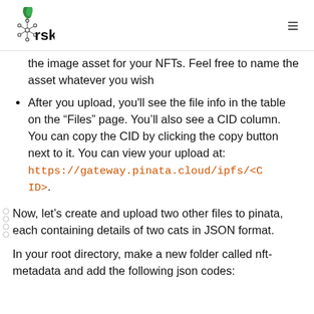rsk
the image asset for your NFTs. Feel free to name the asset whatever you wish
After you upload, you'll see the file info in the table on the “Files” page. You’ll also see a CID column. You can copy the CID by clicking the copy button next to it. You can view your upload at: https://gateway.pinata.cloud/ipfs/<CID>.
Now, let’s create and upload two other files to pinata, each containing details of two cats in JSON format.
In your root directory, make a new folder called nft-metadata and add the following json codes: